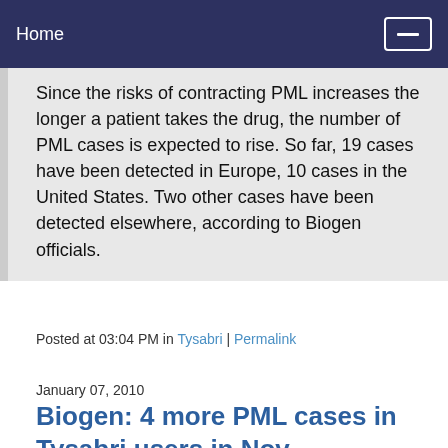Home
Since the risks of contracting PML increases the longer a patient takes the drug, the number of PML cases is expected to rise. So far, 19 cases have been detected in Europe, 10 cases in the United States. Two other cases have been detected elsewhere, according to Biogen officials.
Posted at 03:04 PM in Tysabri | Permalink
January 07, 2010
Biogen: 4 more PML cases in Tysabri users in Nov
Quoted from